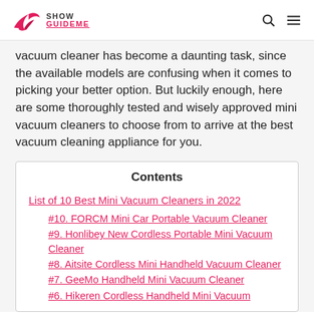Show GuideME
vacuum cleaner has become a daunting task, since the available models are confusing when it comes to picking your better option. But luckily enough, here are some thoroughly tested and wisely approved mini vacuum cleaners to choose from to arrive at the best vacuum cleaning appliance for you.
| Contents |
| --- |
| List of 10 Best Mini Vacuum Cleaners in 2022 |
| #10. FORCM Mini Car Portable Vacuum Cleaner |
| #9. Honlibey New Cordless Portable Mini Vacuum Cleaner |
| #8. Aitsite Cordless Mini Handheld Vacuum Cleaner |
| #7. GeeMo Handheld Mini Vacuum Cleaner |
| #6. Hikeren Cordless Handheld Mini Vacuum |